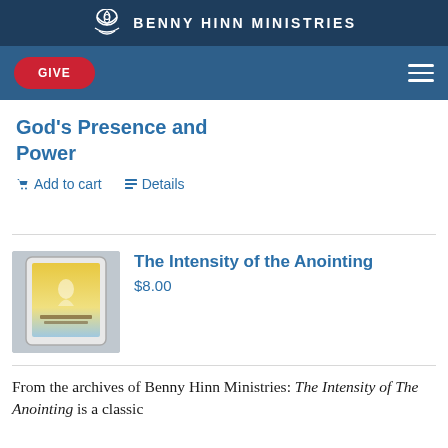BENNY HINN MINISTRIES
GIVE
God's Presence and Power
Add to cart   Details
The Intensity of the Anointing
$8.00
[Figure (photo): Tablet device showing book cover for 'The Intensity of the Anointing' with golden/yellow design and a figure graphic]
From the archives of Benny Hinn Ministries: The Intensity of The Anointing is a classic